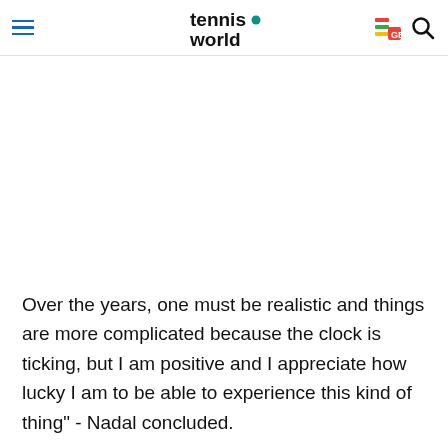tennis world
Over the years, one must be realistic and things are more complicated because the clock is ticking, but I am positive and I appreciate how lucky I am to be able to experience this kind of thing" - Nadal concluded.